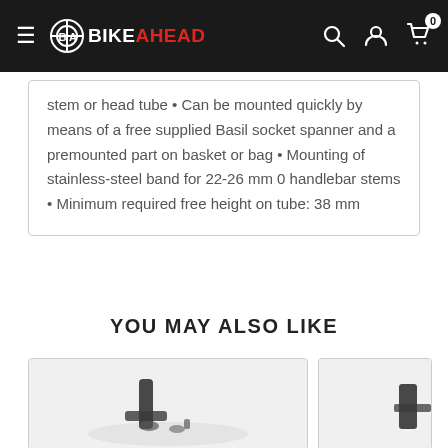BIKEAHEAD
stem or head tube • Can be mounted quickly by means of a free supplied Basil socket spanner and a premounted part on basket or bag • Mounting of stainless-steel band for 22-26 mm 0 handlebar stems • Minimum required free height on tube: 38 mm
YOU MAY ALSO LIKE
[Figure (photo): Product image - bicycle accessory mounting component, black hardware]
[Figure (photo): Partial product image on right side]